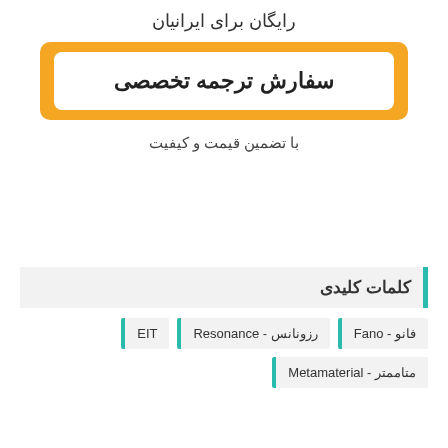رایگان برای ایرانیان
[Figure (other): Orange bordered button with white inner area containing Persian text 'سفارش ترجمه تخصصی' (Order specialized translation)]
با تضمین قیمت و کیفیت
کلمات کلیدی
فانو - Fano
رزونانس - Resonance
EIT
متاممتر - Metamaterial